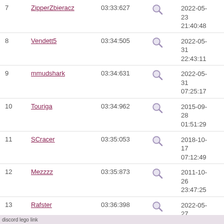| # | Name | Time |  | Date |
| --- | --- | --- | --- | --- |
| 7 | ZipperZbieracz | 03:33:627 |  | 2022-05-23 21:40:48 |
| 8 | Vendett5 | 03:34:505 |  | 2022-05-31 22:43:11 |
| 9 | mmudshark | 03:34:631 |  | 2022-05-31 07:25:17 |
| 10 | Touriga | 03:34:962 |  | 2015-09-28 01:51:29 |
| 11 | SCracer | 03:35:053 |  | 2018-10-17 07:12:49 |
| 12 | Mezzzz | 03:35:873 |  | 2011-10-26 23:47:25 |
| 13 | Rafster | 03:36:398 |  | 2022-05-27 05:33:28 |
| 14 | Urnemanden | 03:37:006 |  | 2011-10-09 23:24:26 |
| 15 | Skarma | 03:38:200 |  | 2011-10-09 00:29:20 |
| 16 | Last_Cuban | 03:39:094 |  | 2015-09-10 |